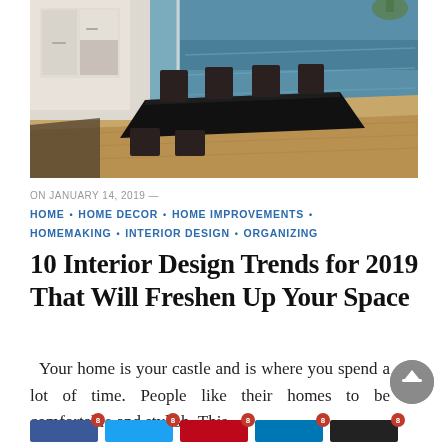[Figure (photo): Interior dining room with dark wooden table and chairs, light wood floor, white kitchen cabinets in background, ocean view through large windows]
ON JANUARY 14, 2019 —
HOME • HOME DECOR • HOME IMPROVEMENTS • HOMEMAKING • INTERIOR DESIGN • ORGANIZING
10 Interior Design Trends for 2019 That Will Freshen Up Your Space
Your home is your castle and is where you spend a lot of time. People like their homes to be comfortable and stylish. This ...